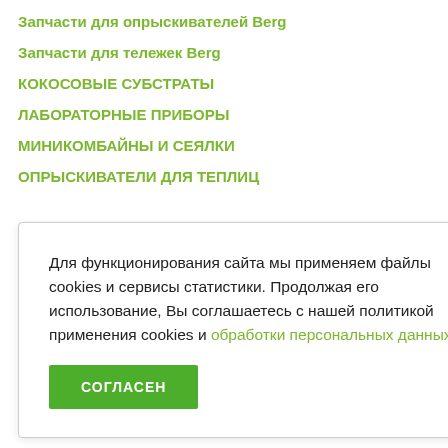Запчасти для опрыскивателей Berg
Запчасти для тележек Berg
КОКОСОВЫЕ СУБСТРАТЫ
ЛАБОРАТОРНЫЕ ПРИБОРЫ
МИНИКОМБАЙНЫ И СЕЯЛКИ
ОПРЫСКИВАТЕЛИ ДЛЯ ТЕПЛИЦ
Для функционирования сайта мы применяем файлы cookies и сервисы статистики. Продолжая его использование, Вы соглашаетесь с нашей политикой применения cookies и обработки персональных данных.
СОГЛАСЕН